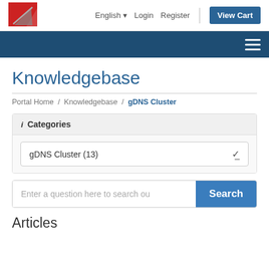English  Login  Register  View Cart
Knowledgebase
Portal Home / Knowledgebase / gDNS Cluster
i Categories
gDNS Cluster (13)
Enter a question here to search ou  Search
Articles